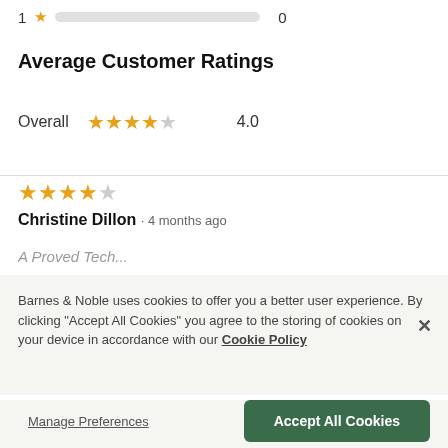1 ★  [progress bar]  0
Average Customer Ratings
Overall  ★★★★☆  4.0
★★★★☆
Christine Dillon · 4 months ago
Barnes & Noble uses cookies to offer you a better user experience. By clicking "Accept All Cookies" you agree to the storing of cookies on your device in accordance with our Cookie Policy
Manage Preferences
Accept All Cookies